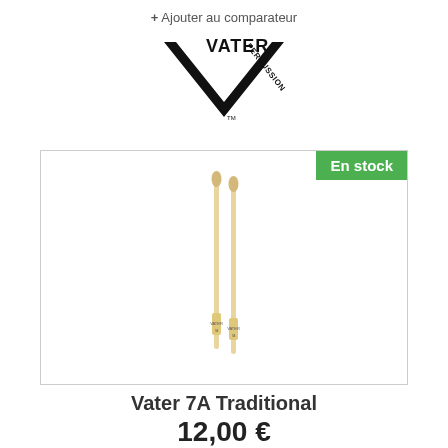+ Ajouter au comparateur
[Figure (logo): Vater Percussion logo: large V shape with 'VATER' text and 'PERCUSSION' text on the right arm of the V]
[Figure (photo): Product photo of Vater 7A Traditional drumsticks (a pair of wooden drumsticks) with 'En stock' green badge in top right corner]
Vater 7A Traditional
12,00 €